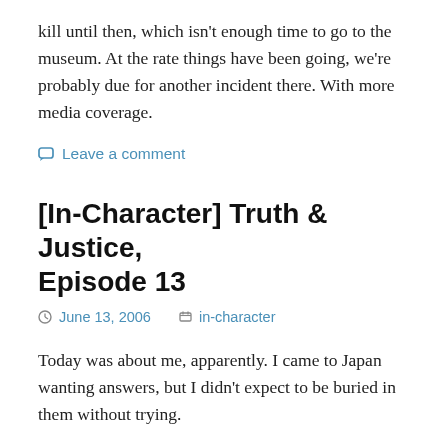kill until then, which isn't enough time to go to the museum. At the rate things have been going, we're probably due for another incident there. With more media coverage.
Leave a comment
[In-Character] Truth & Justice, Episode 13
June 13, 2006  in-character
Today was about me, apparently. I came to Japan wanting answers, but I didn't expect to be buried in them without trying.
On the plane, Razmus was relatively well-behaved, and he